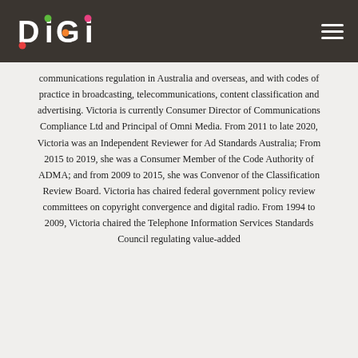[Figure (logo): DIGI logo in white text with coloured dots on dark background header bar]
communications regulation in Australia and overseas, and with codes of practice in broadcasting, telecommunications, content classification and advertising. Victoria is currently Consumer Director of Communications Compliance Ltd and Principal of Omni Media. From 2011 to late 2020, Victoria was an Independent Reviewer for Ad Standards Australia; From 2015 to 2019, she was a Consumer Member of the Code Authority of ADMA; and from 2009 to 2015, she was Convenor of the Classification Review Board. Victoria has chaired federal government policy review committees on copyright convergence and digital radio. From 1994 to 2009, Victoria chaired the Telephone Information Services Standards Council regulating value-added